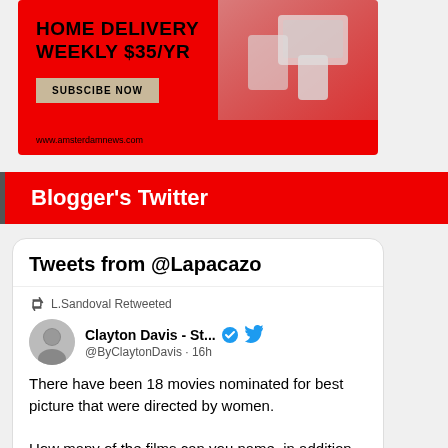[Figure (infographic): Red advertisement banner for Amsterdam News home delivery subscription. Text reads: HOME DELIVERY WEEKLY $35/YR, SUBSCIBE NOW button, www.amsterdamnews.com URL. Decorative image of devices on the right side.]
Blogger's Twitter
Tweets from @Lapacazo
L.Sandoval Retweeted
Clayton Davis - St... @ByClaytonDavis · 16h
There have been 18 movies nominated for best picture that were directed by women.

How many of the films can you name, in addition to naming the director.